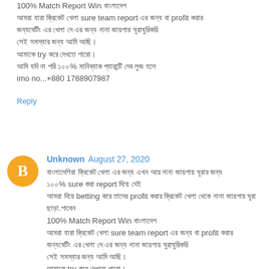100% Match Report Win বাংলাদেশ
আমরা যারা ক্রিকেট খেলা sure team report এর জন্য বা profit করার জন্যবেটিং এর খেলা দে এর জন্য নানা জায়গায় ঘুরাঘুরিকরি
সেই সমস্যার জন্য আমি আছি।
আমাকে try করে দেখতে পারো।
আমি যদি না পরি ১০০% মানিব্যাক গ্যারান্টি দেব লুজ হলে
imo no...+880 1788907987
Reply
Unknown  August 27, 2020
বাংলাদেশিরা ক্রিকেট খেলা এর জন্য এখন আর নানা জায়গায় ঘুরার জন্য
১০০% sure করা report দিয়ে দেই
আমরা দিয়ে betting করে তাদের profit করার ক্রিকেট খেলা থেকে নানা জায়গায় ঘুরা
ছাড়া.পাবেন
100% Match Report Win বাংলাদেশ
আমরা যারা ক্রিকেট খেলা sure team report এর জন্য বা profit করার
জন্যবেটিং এর খেলা দে এর জন্য নানা জায়গায় ঘুরাঘুরিকরি
সেই সমস্যার জন্য আমি আছি।
আমাকে try করে দেখতে পারো।
আমি যদি না পরি ১০০% মানিব্যাক গ্যারান্টি দেব লুজ হলে
imo no...+880 1788907987